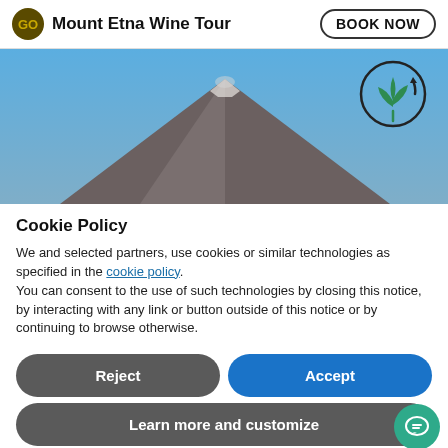Mount Etna Wine Tour | BOOK NOW
[Figure (photo): Photo of Mount Etna volcano with blue sky background and an eco/sustainability icon (circular arrow with green plant) in the upper right corner]
Cookie Policy
We and selected partners, use cookies or similar technologies as specified in the cookie policy.
You can consent to the use of such technologies by closing this notice, by interacting with any link or button outside of this notice or by continuing to browse otherwise.
Reject
Accept
Learn more and customize